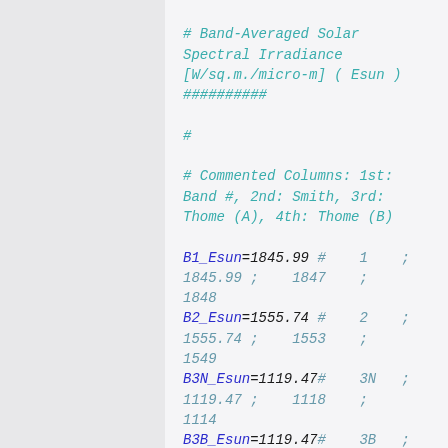# Band-Averaged Solar Spectral Irradiance [W/sq.m./micro-m] ( Esun )
##########

#

# Commented Columns: 1st: Band #, 2nd: Smith, 3rd: Thome (A), 4th: Thome (B)

B1_Esun=1845.99 #    1    ;    1845.99 ;    1847    ;    1848
B2_Esun=1555.74 #    2    ;    1555.74 ;    1553    ;    1549
B3N_Esun=1119.47#    3N   ;    1119.47 ;    1118    ;    1114
B3B_Esun=1119.47#    3B   ;    1119.47 ;    1118    ;    1114

B4_Esun=231.25  #    4    ;